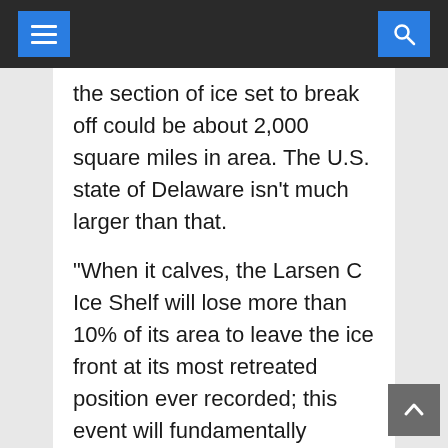Navigation bar with hamburger menu and search button
the section of ice set to break off could be about 2,000 square miles in area. The U.S. state of Delaware isn't much larger than that.
“When it calves, the Larsen C Ice Shelf will lose more than 10% of its area to leave the ice front at its most retreated position ever recorded; this event will fundamentally change the landscape of the Antarctic Peninsula,” write the Project MIDAS team. “We have previously shown that the new configuration will be less stable than it was prior to the rift, and that Larsen C may eventually follow the example